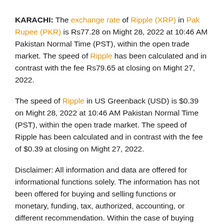KARACHI: The exchange rate of Ripple (XRP) in Pak Rupee (PKR) is Rs77.28 on Might 28, 2022 at 10:46 AM Pakistan Normal Time (PST), within the open trade market. The speed of Ripple has been calculated and in contrast with the fee Rs79.65 at closing on Might 27, 2022.
The speed of Ripple in US Greenback (USD) is $0.39 on Might 28, 2022 at 10:46 AM Pakistan Normal Time (PST), within the open trade market. The speed of Ripple has been calculated and in contrast with the fee of $0.39 at closing on Might 27, 2022.
Disclaimer: All information and data are offered for informational functions solely. The information has not been offered for buying and selling functions or monetary, funding, tax, authorized, accounting, or different recommendation. Within the case of buying